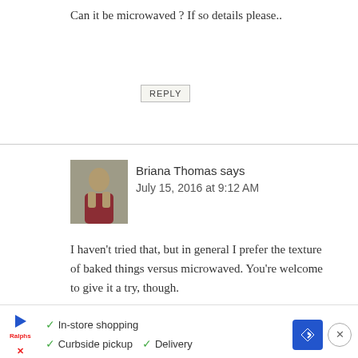Can it be microwaved ? If so details please..
REPLY
Briana Thomas says
July 15, 2016 at 9:12 AM
[Figure (photo): Profile photo of Briana Thomas, a woman in a red dress outdoors]
I haven't tried that, but in general I prefer the texture of baked things versus microwaved. You're welcome to give it a try, though.
REPLY
[Figure (infographic): Advertisement banner: In-store shopping, Curbside pickup, Delivery with play button and navigation icon]